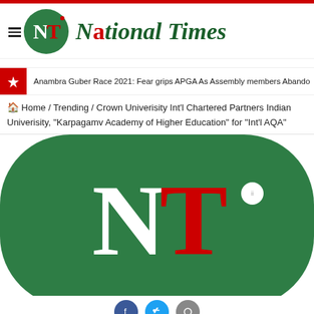[Figure (logo): National Times newspaper logo: green circle with NT letters (N white, T red with dot), beside italic green bold 'National Times' text with red dot on i]
Anambra Guber Race 2021: Fear grips APGA As Assembly members Abando
🏠 Home / Trending / Crown Univerisity Int'l Chartered Partners Indian Univerisity, "Karpagamv Academy of Higher Education" for "Int'l AQA"
[Figure (logo): Large National Times logo on dark green rounded rectangle background: large white N and large red T with small white circle containing 'ii' to the right of T]